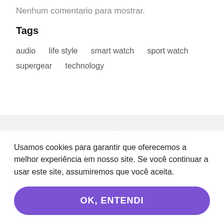Nenhum comentario para mostrar.
Tags
audio   life style   smart watch   sport watch   supergear   technology
[Figure (illustration): Price tag icon with dollar sign and shield with checkmark icon, separated by a vertical divider, on a gray background]
Usamos cookies para garantir que oferecemos a melhor experiência em nosso site. Se você continuar a usar este site, assumiremos que você aceita.
OK, ENTENDI